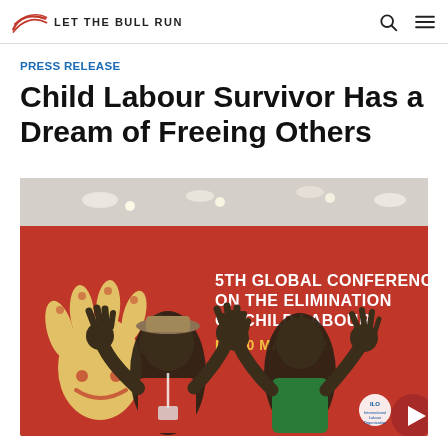Let The Bull Run
PRESS RELEASE
Child Labour Survivor Has a Dream of Freeing Others
[Figure (photo): Two people posing with hands raised in front of a red banner reading '5TH GLOBAL CONFERENCE ON THE ELIMINATION OF CHILD LABOUR D–20 MAY 2022' with ILO logo and a child handprint graphic]